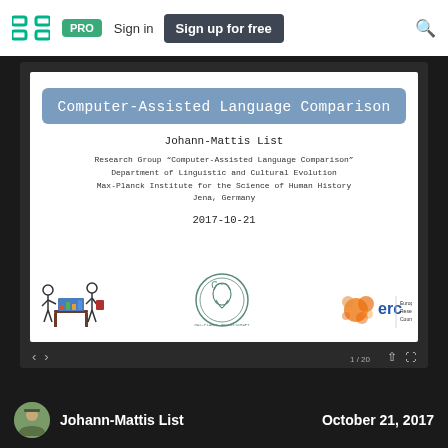[Figure (screenshot): SlideShare-style navigation bar with logo (SD), PRO badge, Sign in link, Sign up for free button, and search icon]
Computer-Assisted Language Comparison
Johann-Mattis List
Research Group "Computer-Assisted Language Comparison"
Department of Linguistic and Cultural Evolution
Max-Planck Institute for the Science of Human History
Jena, Germany
2017-10-21
[Figure (logo): Three logos at bottom of slide: illustrated researchers with chart, Max-Planck-Gesellschaft seal, and European Research Council (erc) logo]
1 / 20
Johann-Mattis List
October 21, 2017